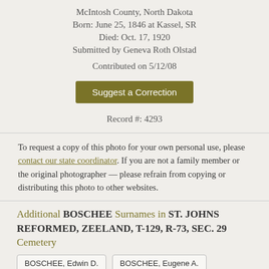McIntosh County, North Dakota
Born: June 25, 1846 at Kassel, SR
Died: Oct. 17, 1920
Submitted by Geneva Roth Olstad
Contributed on 5/12/08
Suggest a Correction
Record #: 4293
To request a copy of this photo for your own personal use, please contact our state coordinator. If you are not a family member or the original photographer — please refrain from copying or distributing this photo to other websites.
Additional BOSCHEE Surnames in ST. JOHNS REFORMED, ZEELAND, T-129, R-73, SEC. 29 Cemetery
BOSCHEE, Edwin D.
BOSCHEE, Eugene A.